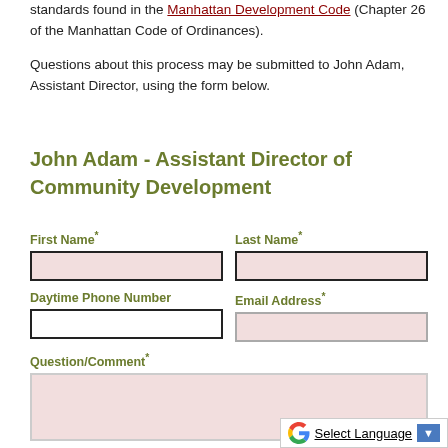standards found in the Manhattan Development Code (Chapter 26 of the Manhattan Code of Ordinances).
Questions about this process may be submitted to John Adam, Assistant Director, using the form below.
John Adam - Assistant Director of Community Development
First Name*
Last Name*
Daytime Phone Number
Email Address*
Question/Comment*